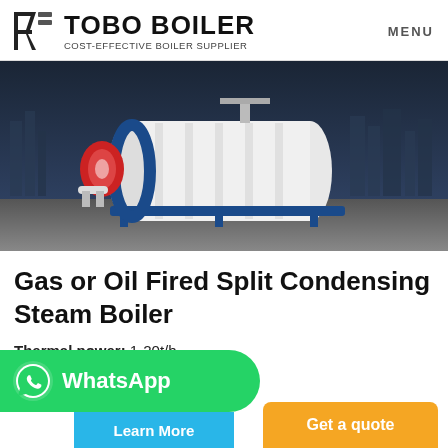TOBO BOILER — COST-EFFECTIVE BOILER SUPPLIER | MENU
[Figure (photo): Industrial gas or oil fired horizontal steam boiler in white and blue, with red burner on the left, mounted on a blue steel frame, against a city skyline background.]
Gas or Oil Fired Split Condensing Steam Boiler
Thermal power: 1-20t/h
Thermal efficiency: 97-100%
WhatsApp
Learn More
Get a quote